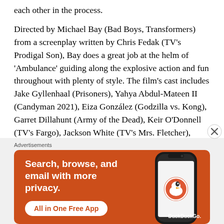each other in the process.
Directed by Michael Bay (Bad Boys, Transformers) from a screenplay written by Chris Fedak (TV’s Prodigal Son), Bay does a great job at the helm of ‘Ambulance’ guiding along the explosive action and fun throughout with plenty of style. The film’s cast includes Jake Gyllenhaal (Prisoners), Yahya Abdul-Mateen II (Candyman 2021), Eiza González (Godzilla vs. Kong), Garret Dillahunt (Army of the Dead), Keir O’Donnell (TV’s Fargo), Jackson White (TV’s Mrs. Fletcher), Olivia Stambouliah (TV’s The Walking Dead), Moses Ingram (TV’s Obi-Wan Kenobi) and more, with the majority offering capable
Advertisements
[Figure (illustration): DuckDuckGo advertisement banner with orange background. Text reads: Search, browse, and email with more privacy. All in One Free App. Shows a smartphone with DuckDuckGo logo and branding.]